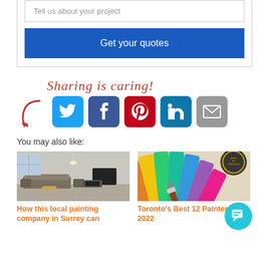Tell us about your project
Get your quotes
Sharing is caring!
You may also like:
[Figure (illustration): Interior living room photo showing modern sofa, fireplace and TV]
How this local painting company in Surrey can
[Figure (photo): Paint color swatches fan with a paintbrush and Best in Toronto badge]
Toronto's Best 12 Painters in 2022